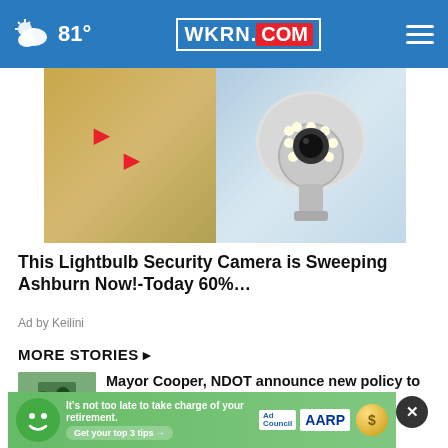81° WKRN.COM
[Figure (photo): Advertisement image showing a lightbulb security camera (white dome camera with LED ring) on the right, and a hand interacting with a smart device on the left, with red arrows pointing at items]
This Lightbulb Security Camera is Sweeping Ashburn Now!-Today 60%...
Ad by Keilini
MORE STORIES ▸
Mayor Cooper, NDOT announce new policy to keep sidewalks …
CDC confirms Nebraska child ✕ d of brain-eating
[Figure (screenshot): AARP advertisement banner: It's not too late to take charge of your retirement. Get your top 3 tips → Ad Council AARP Real Possibilities logo with green cartoon face and gold coin graphic]